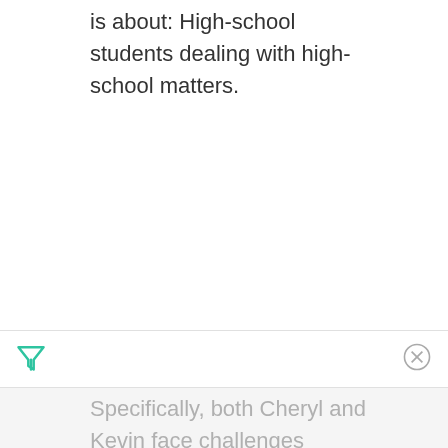is about: High-school students dealing with high-school matters.
[Figure (other): Toolbar with a green funnel/filter icon on the left and a gray X close icon on the right]
Specifically, both Cheryl and Kevin face challenges concerning their sexual